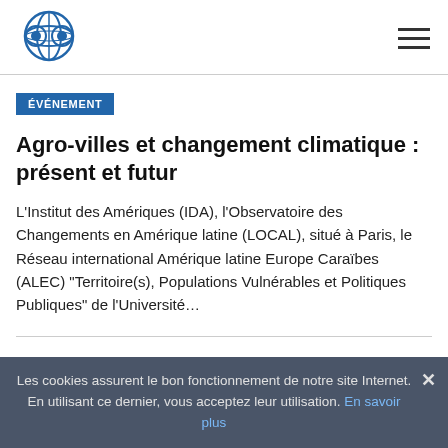[Figure (logo): Circular globe/eye logo in blue, representing an international organization]
ÉVÉNEMENT
Agro-villes et changement climatique : présent et futur
L'Institut des Amériques (IDA), l'Observatoire des Changements en Amérique latine (LOCAL), situé à Paris, le Réseau international Amérique latine Europe Caraïbes (ALEC) "Territoire(s), Populations Vulnérables et Politiques Publiques" de l'Université…
Les cookies assurent le bon fonctionnement de notre site Internet. En utilisant ce dernier, vous acceptez leur utilisation. En savoir plus